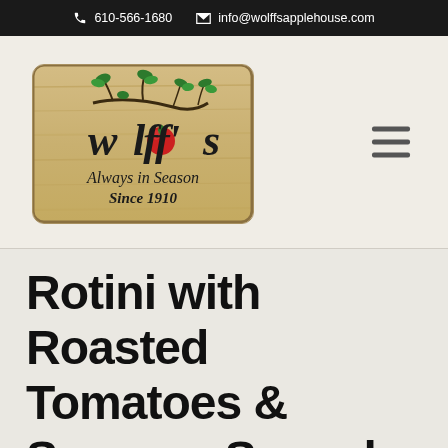610-566-1680   info@wolffsapplehouse.com
[Figure (logo): Wolff's Apple House logo on wooden plank background with apple tree branch, text reads 'Wolff's Always in Season Since 1910']
Rotini with Roasted Tomatoes & Summer Squash